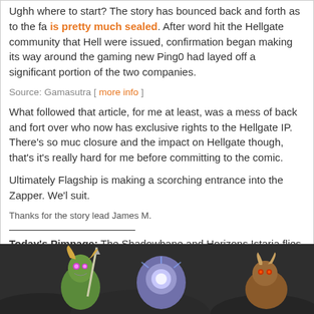Ughh where to start? The story has bounced back and forth as to the fa is pretty much sealed. After word hit the Hellgate community that Hell were issued, confirmation began making its way around the gaming ne Ping0 had layed off a significant portion of the two companies.
Source: Gamasutra [ more info ]
What followed that article, for me at least, was a mess of back and fort over who now has exclusive rights to the Hellgate IP. There's so muc closure and the impact on Hellgate though, that's it's really hard for m before committing to the comic.
Ultimately Flagship is making a scorching entrance into the Zapper. We' suit.
Thanks for the story lead James M.
Today's Pimpage: The Shadowbane and Horizons Istaria flies are Delicious! Popcorn Emporium.
[ discuss ]
[ top ]
[Figure (photo): A fantasy game screenshot showing a green goblin-like creature with a spear and glowing eyes, alongside other fantasy characters, dark background]